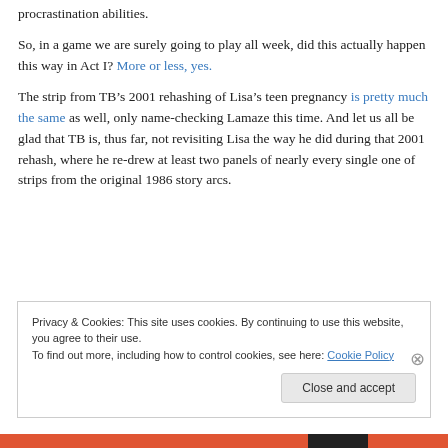procrastination abilities.
So, in a game we are surely going to play all week, did this actually happen this way in Act I? More or less, yes.
The strip from TB’s 2001 rehashing of Lisa’s teen pregnancy is pretty much the same as well, only name-checking Lamaze this time. And let us all be glad that TB is, thus far, not revisiting Lisa the way he did during that 2001 rehash, where he re-drew at least two panels of nearly every single one of strips from the original 1986 story arcs.
Privacy & Cookies: This site uses cookies. By continuing to use this website, you agree to their use.
To find out more, including how to control cookies, see here: Cookie Policy
Close and accept